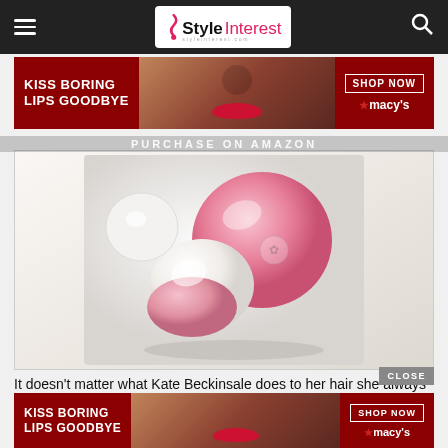StyleInterest — navigation bar with hamburger menu and search
[Figure (photo): Advertisement banner: KISS BORING LIPS GOODBYE — SHOP NOW — Macy's star logo, woman with red lips]
PURCHASE ON AMAZON
[Figure (photo): Pink cosmetic powder puff / compact product image on white background]
It doesn't matter what Kate Beckinsale does to her hair she always looks incredible. We do love this messy ponytail. You can rock this celebrity style to your next event.
[Figure (photo): Advertisement banner bottom: KISS BORING LIPS GOODBYE — SHOP NOW — Macy's star logo]